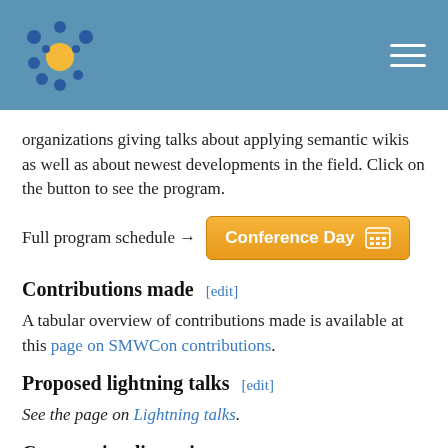SMWCon header with logo and menu
organizations giving talks about applying semantic wikis as well as about newest developments in the field. Click on the button to see the program.
Full program schedule → [Conference Day]
Contributions made [edit]
A tabular overview of contributions made is available at this page on SMWCon contributions.
Proposed lightning talks [edit]
See the page on Lightning talks.
Community discussion [edit]
See the page for the community discussion.